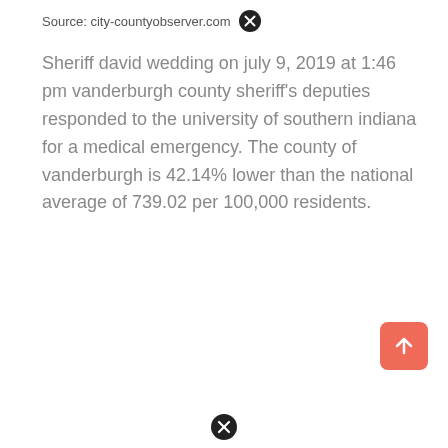Source: city-countyobserver.com
Sheriff david wedding on july 9, 2019 at 1:46 pm vanderburgh county sheriff's deputies responded to the university of southern indiana for a medical emergency. The county of vanderburgh is 42.14% lower than the national average of 739.02 per 100,000 residents.